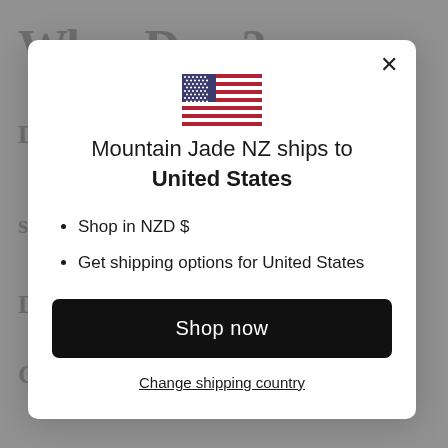[Figure (screenshot): Modal dialog on a website. Contains a US flag icon, heading text, bullet points, a 'Shop now' button, and a 'Change shipping country' link.]
Mountain Jade NZ ships to United States
Shop in NZD $
Get shipping options for United States
Shop now
Change shipping country